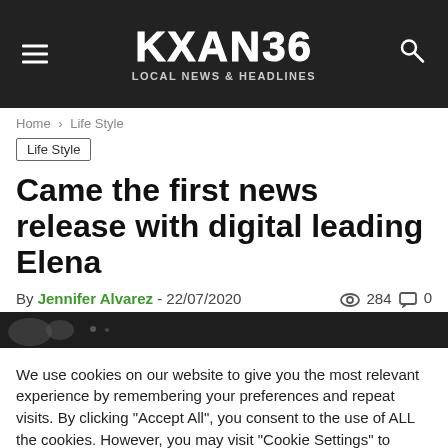KXAN36 LOCAL NEWS & HEADLINES
Home > Life Style
Life Style
Came the first news release with digital leading Elena
By Jennifer Alvarez - 22/07/2020   284  0
[Figure (photo): Dark image strip at the top of the article]
We use cookies on our website to give you the most relevant experience by remembering your preferences and repeat visits. By clicking "Accept All", you consent to the use of ALL the cookies. However, you may visit "Cookie Settings" to provide a controlled consent.
Cookie Settings   Accept All